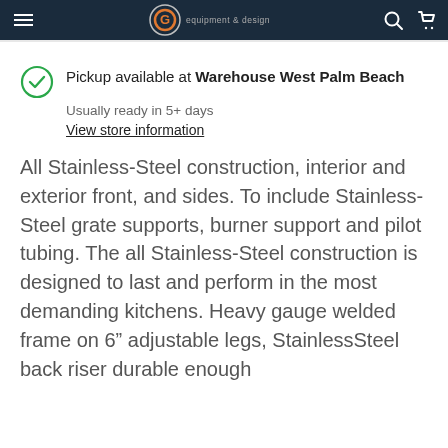equipment & design
Pickup available at Warehouse West Palm Beach
Usually ready in 5+ days
View store information
All Stainless-Steel construction, interior and exterior front, and sides. To include Stainless-Steel grate supports, burner support and pilot tubing. The all Stainless-Steel construction is designed to last and perform in the most demanding kitchens. Heavy gauge welded frame on 6” adjustable legs, StainlessSteel back riser durable enough